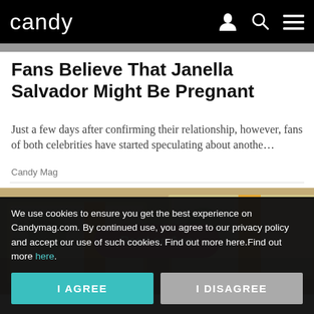candy
[Figure (photo): Candy magazine website header with logo, user icon, search icon, and menu icon on black background]
Fans Believe That Janella Salvador Might Be Pregnant
Just a few days after confirming their relationship, however, fans of both celebrities have started speculating about anothe…
Candy Mag
[Figure (photo): Stacks of US $100 dollar bills bundled with gold/yellow bands, with a pink 'Read on App' button overlaid in the center]
We use cookies to ensure you get the best experience on Candymag.com. By continued use, you agree to our privacy policy and accept our use of such cookies. Find out more here.Find out more here.